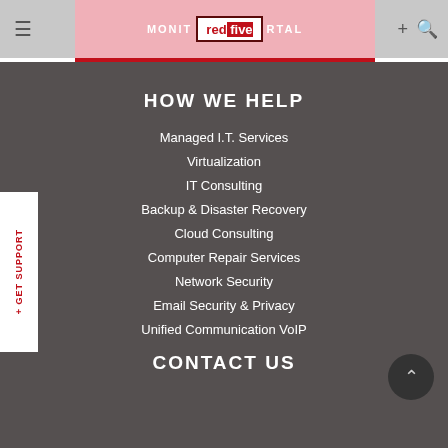MONITORING PORTAL
[Figure (logo): Red Five logo with red border, white background, red and white text]
HOW WE HELP
Managed I.T. Services
Virtualization
IT Consulting
Backup & Disaster Recovery
Cloud Consulting
Computer Repair Services
Network Security
Email Security & Privacy
Unified Communication VoIP
CONTACT US